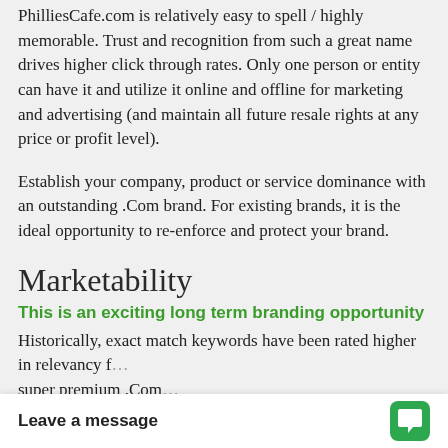PhilliesCafe.com is relatively easy to spell / highly memorable. Trust and recognition from such a great name drives higher click through rates. Only one person or entity can have it and utilize it online and offline for marketing and advertising (and maintain all future resale rights at any price or profit level).
Establish your company, product or service dominance with an outstanding .Com brand. For existing brands, it is the ideal opportunity to re-enforce and protect your brand.
Marketability
This is an exciting long term branding opportunity
Historically, exact match keywords have been rated higher in relevancy f... super premium .Com...
Leave a message